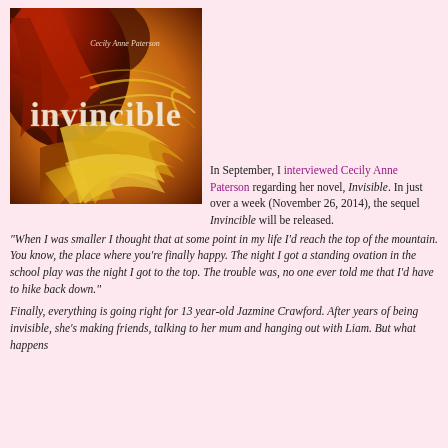[Figure (illustration): Book cover of 'Invincible' by Cecily Anne Paterson showing a girl with flowing red/auburn and golden hair against a warm orange background. The title 'invincible' appears in large weathered letters and the author name in cursive.]
In September, I interviewed Cecily Anne Paterson regarding her novel, Invisible. In just over a week (November 26, 2014), the sequel Invincible will be released.
“When I was smaller I thought that at some point in my life I’d reach the top of the mountain. You know, the place where you’re finally happy. The night I got a standing ovation in the school play was the night I got to the top. The trouble was, no one ever told me that I’d have to hike back down.”
Finally, everything is going right for 13 year-old Jazmine Crawford. After years of being invisible, she’s making friends, talking to her mum and hanging out with Liam. But what happens...